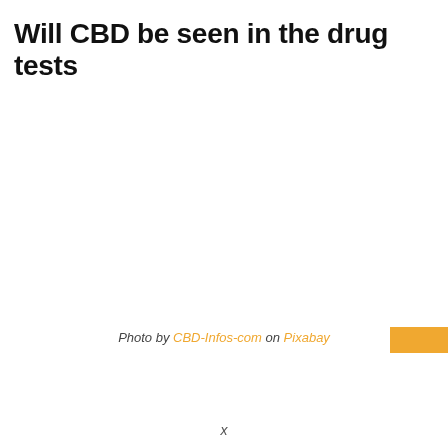Will CBD be seen in the drug tests
Photo by CBD-Infos-com on Pixabay